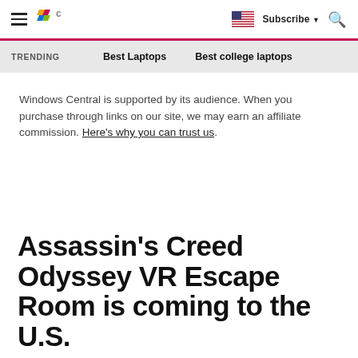Windows Central — Subscribe | Search
TRENDING   Best Laptops   Best college laptops
Windows Central is supported by its audience. When you purchase through links on our site, we may earn an affiliate commission. Here's why you can trust us.
Assassin's Creed Odyssey VR Escape Room is coming to the U.S.